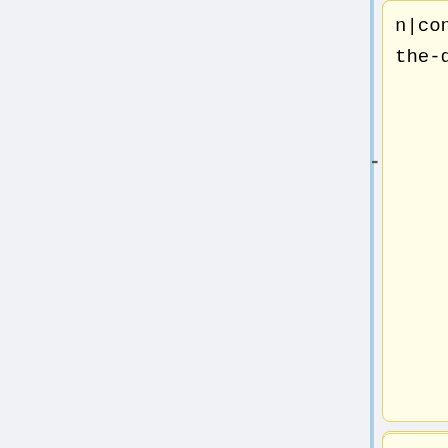[Figure (screenshot): A diff/comparison UI showing two columns of code/text cards. Left column has yellow highlighted cards, right column has blue highlighted cards. Content shows text fragments about 'n|connect-the-dots]].', 'But the original bandlimited signal, complete with ripples, was', and 'still there.' Cards have minus/plus markers. The word 'But the' is highlighted in yellow on left, 'The' is highlighted in blue on right.]